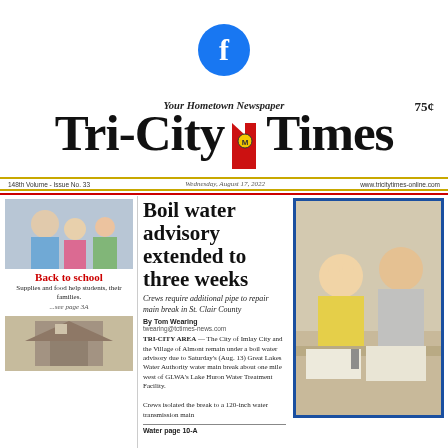[Figure (logo): Facebook logo circle icon in blue]
Your Hometown Newspaper
75¢
Tri-City Times
148th Volume - Issue No. 33   Wednesday, August 17, 2022   www.tricitytimes-online.com
[Figure (photo): Back to school - people in summer attire outdoors]
Back to school
Supplies and food help students, their families.
...see page 3A
[Figure (photo): Building exterior photo]
Boil water advisory extended to three weeks
Crews require additional pipe to repair main break in St. Clair County
By Tom Wearing
twearing@tctimes-news.com
TRI-CITY AREA — The City of Imlay City and the Village of Almont remain under a boil water advisory due to Saturday's (Aug. 13) Great Lakes Water Authority water main break about one mile west of GLWA's Lake Huron Water Treatment Facility. Crews isolated the break to a 120-inch water transmission main
Water page 10-A
[Figure (photo): Two young boys sitting at a table with papers, one looking serious]